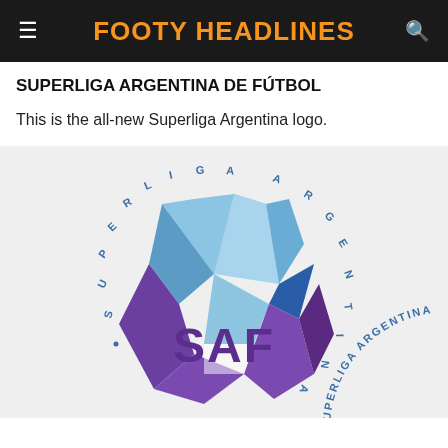FOOTY HEADLINES
SUPERLIGA ARGENTINA DE FÚTBOL
This is the all-new Superliga Argentina logo.
[Figure (logo): Superliga Argentina de Fútbol (SAF) logo — a circular emblem with blue and purple geometric shield/arrow shapes, 'SAF' text in purple, and curved text around the circle reading 'SUPERLIGA ARGENTINA']